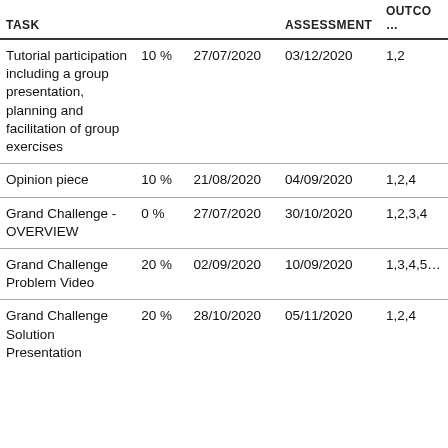| TASK |  |  | ASSESSMENT | OUTCO… |
| --- | --- | --- | --- | --- |
| Tutorial participation including a group presentation, planning and facilitation of group exercises | 10 % | 27/07/2020 | 03/12/2020 | 1,2 |
| Opinion piece | 10 % | 21/08/2020 | 04/09/2020 | 1,2,4 |
| Grand Challenge - OVERVIEW | 0 % | 27/07/2020 | 30/10/2020 | 1,2,3,4 |
| Grand Challenge Problem Video | 20 % | 02/09/2020 | 10/09/2020 | 1,3,4,5… |
| Grand Challenge Solution Presentation | 20 % | 28/10/2020 | 05/11/2020 | 1,2,4 |